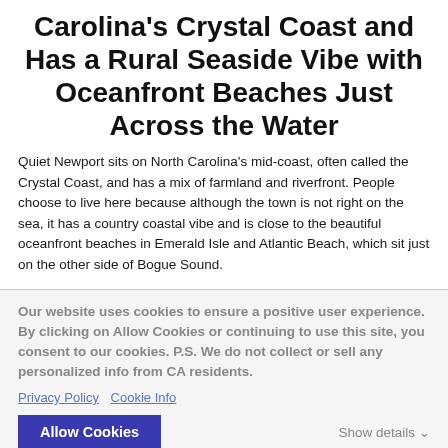Carolina's Crystal Coast and Has a Rural Seaside Vibe with Oceanfront Beaches Just Across the Water
Quiet Newport sits on North Carolina's mid-coast, often called the Crystal Coast, and has a mix of farmland and riverfront. People choose to live here because although the town is not right on the sea, it has a country coastal vibe and is close to the beautiful oceanfront beaches in Emerald Isle and Atlantic Beach, which sit just on the other side of Bogue Sound.
Our website uses cookies to ensure a positive user experience. By clicking on Allow Cookies or continuing to use this site, you consent to our cookies. P.S. We do not collect or sell any personalized info from CA residents.
Privacy Policy  Cookie Info
Allow Cookies
Show details